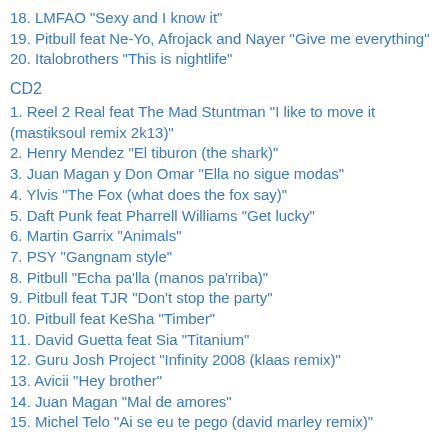18. LMFAO "Sexy and I know it"
19. Pitbull feat Ne-Yo, Afrojack and Nayer "Give me everything"
20. Italobrothers "This is nightlife"
CD2
1. Reel 2 Real feat The Mad Stuntman "I like to move it (mastiksoul remix 2k13)"
2. Henry Mendez "El tiburon (the shark)"
3. Juan Magan y Don Omar "Ella no sigue modas"
4. Ylvis "The Fox (what does the fox say)"
5. Daft Punk feat Pharrell Williams "Get lucky"
6. Martin Garrix "Animals"
7. PSY "Gangnam style"
8. Pitbull "Echa pa'lla (manos pa'rriba)"
9. Pitbull feat TJR "Don't stop the party"
10. Pitbull feat KeSha "Timber"
11. David Guetta feat Sia "Titanium"
12. Guru Josh Project "Infinity 2008 (klaas remix)"
13. Avicii "Hey brother"
14. Juan Magan "Mal de amores"
15. Michel Telo "Ai se eu te pego (david marley remix)"